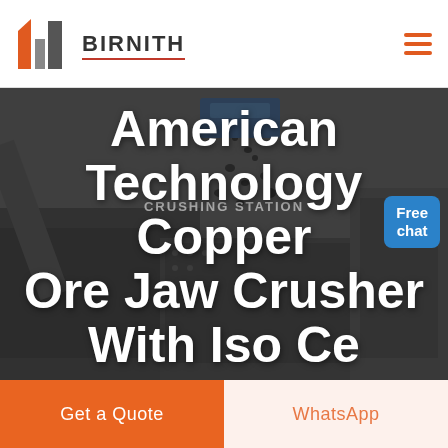[Figure (logo): Birnith company logo with orange and grey building icon and BIRNITH brand name with red underline]
[Figure (photo): Industrial crushing station machinery with conveyor belts and ore processing equipment, dark moody background with text overlay: American Technology Copper Ore Jaw Crusher With Iso Ce]
American Technology Copper Ore Jaw Crusher With Iso Ce
Free chat
Get a Quote
WhatsApp